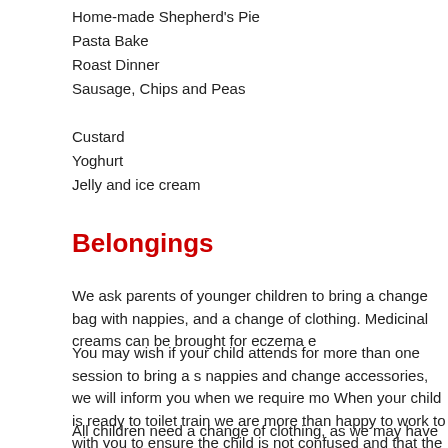Home-made Shepherd's Pie
Pasta Bake
Roast Dinner
Sausage, Chips and Peas
Custard
Yoghurt
Jelly and ice cream
Belongings
We ask parents of younger children to bring a change bag with nappies, and a change of clothing. Medicinal creams can be brought for eczema e
You may wish if your child attends for more than one session to bring a s nappies and change accessories, we will inform you when we require mo When your child is ready to toilet train we are more than happy to work to with you to ensure the child is not confused and that the routine stays as to home as possible.
All children need a change of clothing, as we may have accidents with dr and paint pots and we would rather send the children home clean.